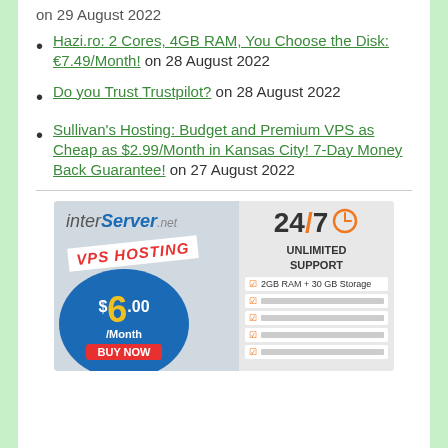on 29 August 2022
Hazi.ro: 2 Cores, 4GB RAM, You Choose the Disk: €7.49/Month! on 28 August 2022
Do you Trust Trustpilot? on 28 August 2022
Sullivan's Hosting: Budget and Premium VPS as Cheap as $2.99/Month in Kansas City! 7-Day Money Back Guarantee! on 27 August 2022
[Figure (illustration): InterServer.net VPS Hosting advertisement banner showing $6.00/Month price, 24/7 Unlimited Support, and 2GB RAM + 30GB Storage feature with BUY NOW button]